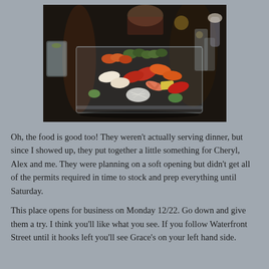[Figure (photo): Photo of a sushi platter on a dark granite restaurant table. Various sushi rolls and sashimi pieces are arranged on a clear glass/acrylic tray. A glass of water is visible on the left, glassware and a flower vase on the right. A person is partially visible in the background.]
Oh, the food is good too! They weren't actually serving dinner, but since I showed up, they put together a little something for Cheryl, Alex and me. They were planning on a soft opening but didn't get all of the permits required in time to stock and prep everything until Saturday.
This place opens for business on Monday 12/22. Go down and give them a try. I think you'll like what you see. If you follow Waterfront Street until it hooks left you'll see Grace's on your left hand side.